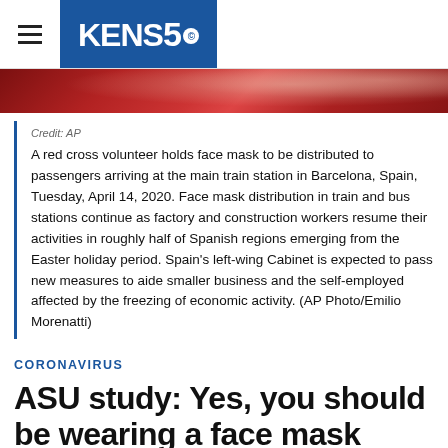KENS5
[Figure (photo): Photo strip showing a red background scene, partial view of a news image]
Credit: AP
A red cross volunteer holds face mask to be distributed to passengers arriving at the main train station in Barcelona, Spain, Tuesday, April 14, 2020. Face mask distribution in train and bus stations continue as factory and construction workers resume their activities in roughly half of Spanish regions emerging from the Easter holiday period. Spain's left-wing Cabinet is expected to pass new measures to aide smaller business and the self-employed affected by the freezing of economic activity. (AP Photo/Emilio Morenatti)
CORONAVIRUS
ASU study: Yes, you should be wearing a face mask when you go outside